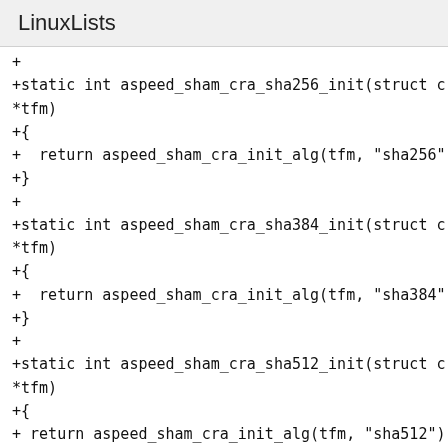LinuxLists
+
+static int aspeed_sham_cra_sha256_init(struct crypto_tfm *tfm)
+{
+  return aspeed_sham_cra_init_alg(tfm, "sha256");
+}
+
+static int aspeed_sham_cra_sha384_init(struct crypto_tfm *tfm)
+{
+  return aspeed_sham_cra_init_alg(tfm, "sha384");
+}
+
+static int aspeed_sham_cra_sha512_init(struct crypto_tfm *tfm)
+{
+ return aspeed_sham_cra_init_alg(tfm, "sha512");